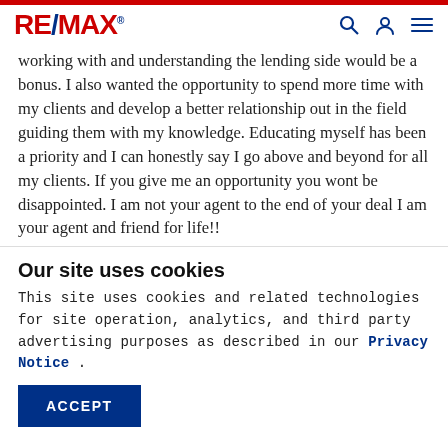RE/MAX
working with and understanding the lending side would be a bonus. I also wanted the opportunity to spend more time with my clients and develop a better relationship out in the field guiding them with my knowledge. Educating myself has been a priority and I can honestly say I go above and beyond for all my clients. If you give me an opportunity you wont be disappointed. I am not your agent to the end of your deal I am your agent and friend for life!!
Our site uses cookies
This site uses cookies and related technologies for site operation, analytics, and third party advertising purposes as described in our Privacy Notice .
ACCEPT